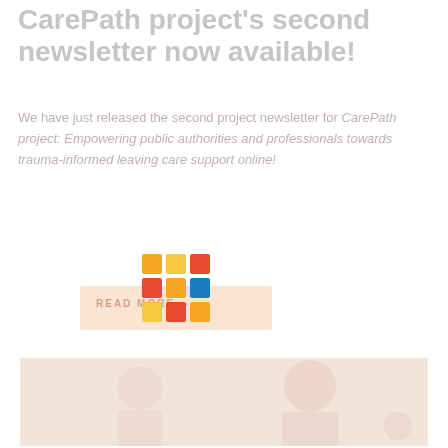CarePath project's second newsletter now available!
We have just released the second project newsletter for CarePath project: Empowering public authorities and professionals towards trauma-informed leaving care support online!
[Figure (logo): CarePath project colorful grid logo (squares in orange, yellow, blue, red) overlapping a faded salmon-colored button with text READ MORE]
[Figure (photo): Faded photo of people, appears to show two individuals, one woman smiling in the foreground]